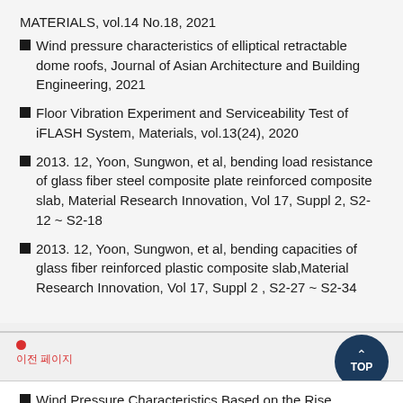MATERIALS, vol.14 No.18, 2021
Wind pressure characteristics of elliptical retractable dome roofs, Journal of Asian Architecture and Building Engineering, 2021
Floor Vibration Experiment and Serviceability Test of iFLASH System, Materials, vol.13(24), 2020
2013. 12, Yoon, Sungwon, et al, bending load resistance of glass fiber steel composite plate reinforced composite slab, Material Research Innovation, Vol 17, Suppl 2, S2-12 ~ S2-18
2013. 12, Yoon, Sungwon, et al, bending capacities of glass fiber reinforced plastic composite slab,Material Research Innovation, Vol 17, Suppl 2 , S2-27 ~ S2-34
이전 페이지
Wind Pressure Characteristics Based on the Rise